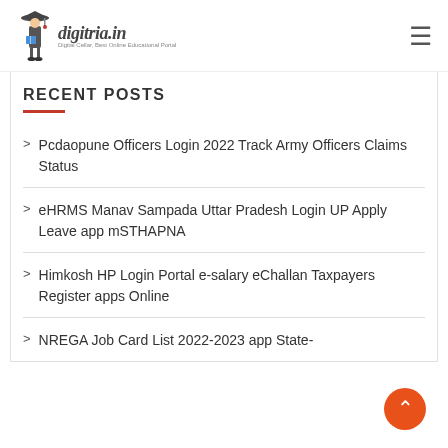[Figure (logo): digitria.in logo with a student figure icon and tagline 'Digital Cellar, Best Online Educational Portal']
RECENT POSTS
Pcdaopune Officers Login 2022 Track Army Officers Claims Status
eHRMS Manav Sampada Uttar Pradesh Login UP Apply Leave app mSTHAPNA
Himkosh HP Login Portal e-salary eChallan Taxpayers Register apps Online
NREGA Job Card List 2022-2023 app State-